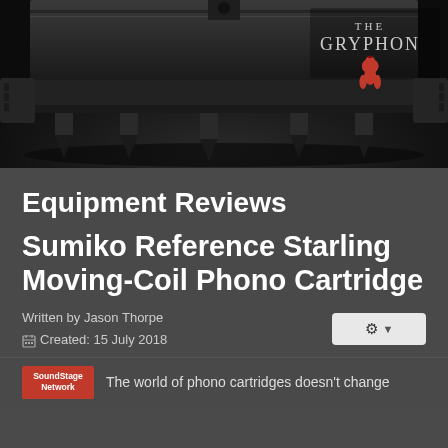[Figure (photo): Black and white photo of high-end audio amplifier/speaker equipment base with metal spikes and feet on a dark background. The Gryphon logo with crown text and red griffin icon appears in the top right.]
Equipment Reviews
Sumiko Reference Starling Moving-Coil Phono Cartridge
Written by Jason Thorpe
Created: 15 July 2018
The world of phono cartridges doesn't change